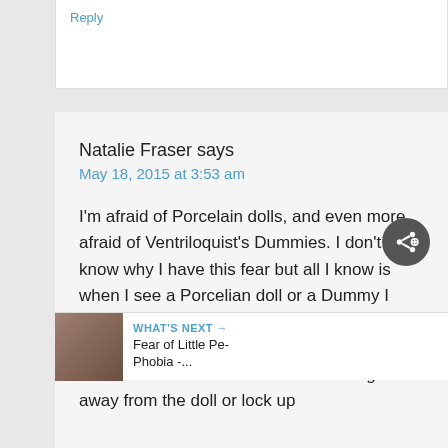Natalie Fraser says
May 18, 2015 at 3:53 am
I'm afraid of Porcelain dolls, and even more afraid of Ventriloquist's Dummies. I don't know why I have this fear but all I know is when I see a Porcelian doll or a Dummy I start to get really nervous, have a rapid heart beat and have and overwhelming feeling that the doll itself will come a... want to get away from the doll or lock up
WHAT'S NEXT → Fear of Little Pe- Phobia -...